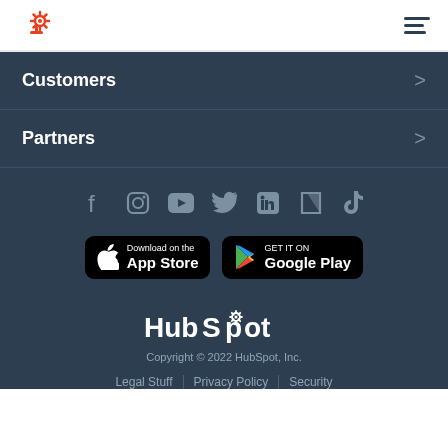HubSpot navigation header with logo and hamburger menu
Customers >
Partners >
[Figure (infographic): Social media icons row: Facebook, Instagram, YouTube, Twitter, LinkedIn, Notion/Mezmo, TikTok]
[Figure (infographic): App store download buttons: Download on the App Store, GET IT ON Google Play]
[Figure (logo): HubSpot wordmark logo in white]
Copyright © 2022 HubSpot, Inc.
Legal Stuff | Privacy Policy | Security